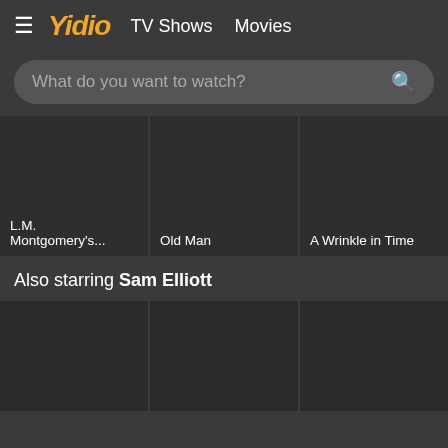Yidio  TV Shows  Movies
What do you want to watch?
[Figure (screenshot): Movie card: L.M. Montgomery's...]
[Figure (screenshot): Movie card: Old Man]
[Figure (screenshot): Movie card: A Wrinkle in Time]
[Figure (screenshot): Movie card: partially visible]
Also starring Sam Elliott
[Figure (screenshot): Movie card bottom row 1]
[Figure (screenshot): Movie card bottom row 2]
[Figure (screenshot): Movie card bottom row 3]
[Figure (screenshot): Movie card bottom row 4 - partially visible]